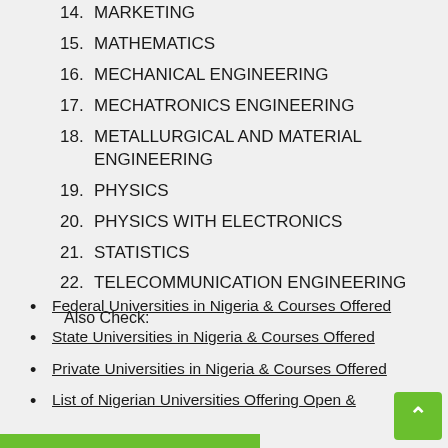14. MARKETING
15. MATHEMATICS
16. MECHANICAL ENGINEERING
17. MECHATRONICS ENGINEERING
18. METALLURGICAL AND MATERIAL ENGINEERING
19. PHYSICS
20. PHYSICS WITH ELECTRONICS
21. STATISTICS
22. TELECOMMUNICATION ENGINEERING
Also Check:
Federal Universities in Nigeria & Courses Offered
State Universities in Nigeria & Courses Offered
Private Universities in Nigeria & Courses Offered
List of Nigerian Universities Offering Open &